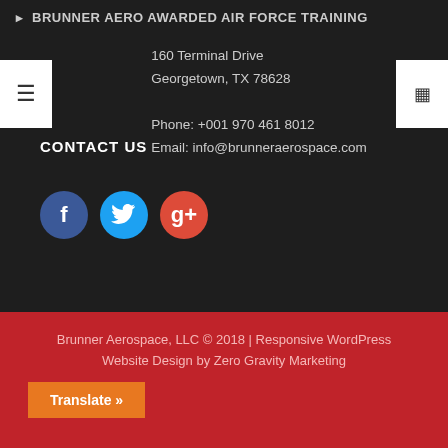BRUNNER AERO AWARDED AIR FORCE TRAINING
CONTACT US
160 Terminal Drive
Georgetown, TX 78628

Phone: +001 970 461 8012
Email: info@brunneraerospace.com
[Figure (illustration): Social media icons: Facebook (blue circle with f), Twitter (cyan circle with bird), Google+ (red circle with g+)]
Brunner Aerospace, LLC © 2018 | Responsive WordPress Website Design by Zero Gravity Marketing
Translate »